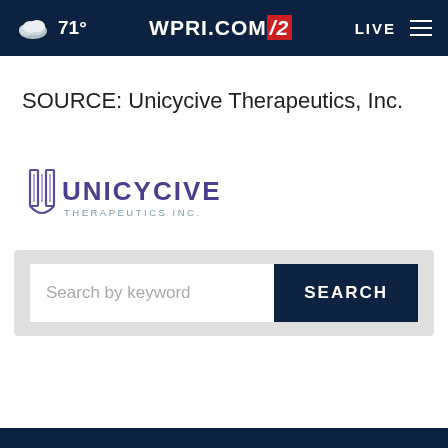71° WPRI.COM/2 LIVE
SOURCE: Unicycive Therapeutics, Inc.
[Figure (logo): Unicycive Therapeutics Inc. logo — stylized U lettermark with 'UNICYCIVE' in purple bold text and 'THERAPEUTICS INC.' in smaller grey text below]
Search by keyword SEARCH